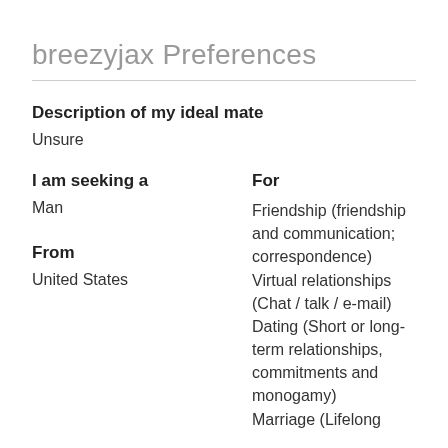breezyjax Preferences
Description of my ideal mate
Unsure
I am seeking a
Man
From
United States
For
Friendship (friendship and communication; correspondence)
Virtual relationships (Chat / talk / e-mail)
Dating (Short or long-term relationships, commitments and monogamy)
Marriage (Lifelong